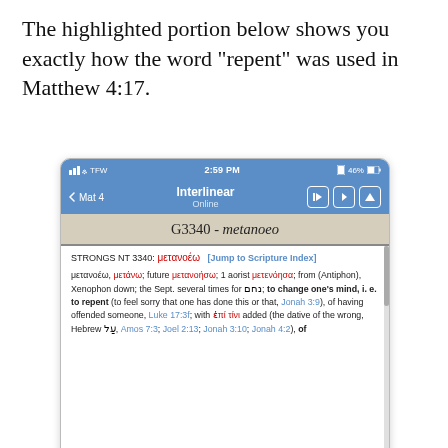The highlighted portion below shows you exactly how the word “repent” was used in Matthew 4:17.
[Figure (screenshot): Mobile app screenshot showing an interlinear Bible app. Status bar shows TFW, wifi, 2:59 PM, 46% battery. Navigation bar shows '< Mat 4' and 'Interlinear / Online' title with navigation icons. A beige bar reads 'G3340 - metanoeo'. Content area shows Strong's NT 3340 entry for the Greek word metanoeo, with definition including 'to change one’s mind, i.e. to repent'. References to Jonah 3:9, Luke 17:3f, Amos 7:3, Joel 2:13, Jonah 3:10, Jonah 4:2 are shown in blue.]